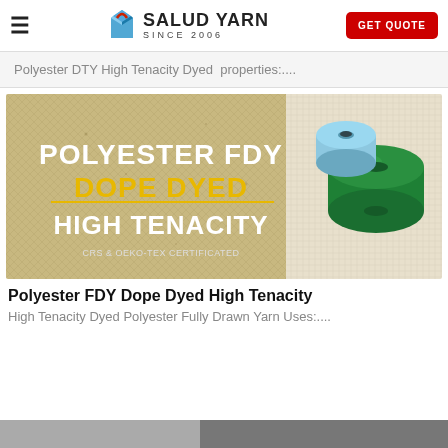SALUD YARN SINCE 2006 | GET QUOTE
Polyester DTY High Tenacity Dyed  properties:....
[Figure (photo): Product banner image showing two yarn spools (light blue and green) on a natural fiber background with text: POLYESTER FDY DOPE DYED HIGH TENACITY, CRS & OEKO-TEX CERTIFICATED]
Polyester FDY Dope Dyed High Tenacity
High Tenacity Dyed Polyester Fully Drawn Yarn Uses:....